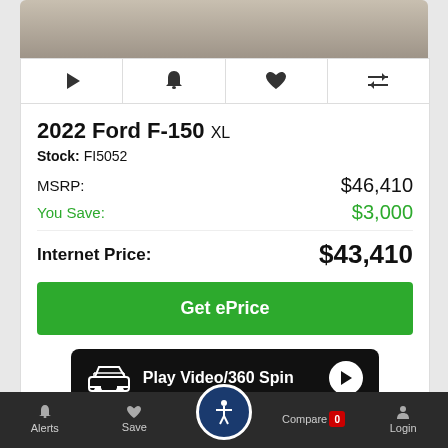[Figure (photo): Top portion of vehicle photo, gray/beige surface visible]
2022 Ford F-150 XL
Stock: FI5052
MSRP: $46,410
You Save: $3,000
Internet Price: $43,410
Get ePrice
[Figure (infographic): Black banner with car icon and 'Play Video/360 Spin' text with play button]
Alerts  Save  Compare 0  Login